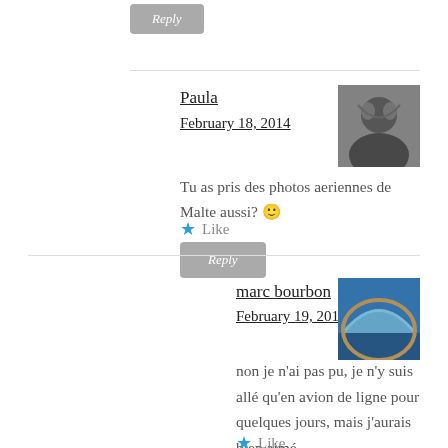Reply
Paula
February 18, 2014
[Figure (photo): Black and white avatar photo of Paula]
Tu as pris des photos aeriennes de Malte aussi? 🙂
★ Like
Reply
marc bourbon
February 19, 2014
[Figure (photo): Color avatar photo of marc bourbon showing arch/sky view]
non je n'ai pas pu, je n'y suis allé qu'en avion de ligne pour quelques jours, mais j'aurais bien aimé
★ Like